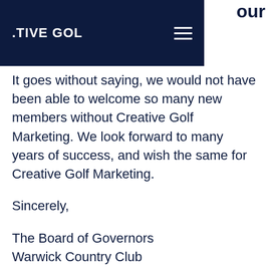ATIVE GOL
It goes without saying, we would not have been able to welcome so many new members without Creative Golf Marketing. We look forward to many years of success, and wish the same for Creative Golf Marketing.
Sincerely,
The Board of Governors
Warwick Country Club
Membership Marketing and growing our client's membership is what Creative Golf Marketing